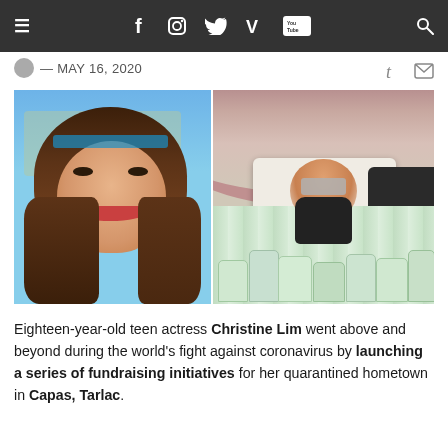≡  f  ○  𝕋  V  YouTube  🔍
— MAY 16, 2020
[Figure (photo): Two-photo collage: left photo shows a smiling young woman taking a selfie outdoors; right photo shows the same woman posing among many bags of donations inside a warehouse with an arched roof, with a white Toyota SUV behind her.]
Eighteen-year-old teen actress Christine Lim went above and beyond during the world's fight against coronavirus by launching a series of fundraising initiatives for her quarantined hometown in Capas, Tarlac.